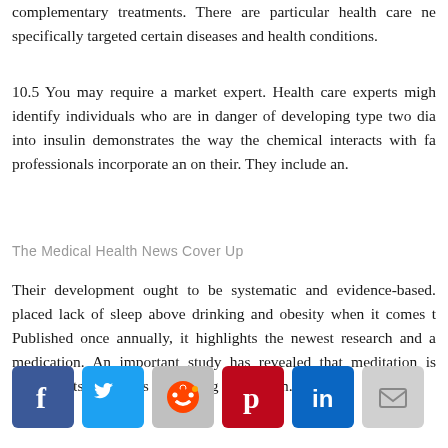complementary treatments. There are particular health care needs specifically targeted certain diseases and health conditions.
10.5 You may require a market expert. Health care experts might identify individuals who are in danger of developing type two diabetes. Research into insulin demonstrates the way the chemical interacts with fat. Health professionals incorporate an on their. They include an.
The Medical Health News Cover Up
Their development ought to be systematic and evidence-based. The report placed lack of sleep above drinking and obesity when it comes to risk factors. Published once annually, it highlights the newest research and advice on medication. An important study has revealed that meditation is better than anti-depressants in regards to tackling depression.
[Figure (infographic): Social media share icons row: Facebook (blue), Twitter (light blue), Reddit (gray), Pinterest (red), LinkedIn (dark blue), Email (gray)]